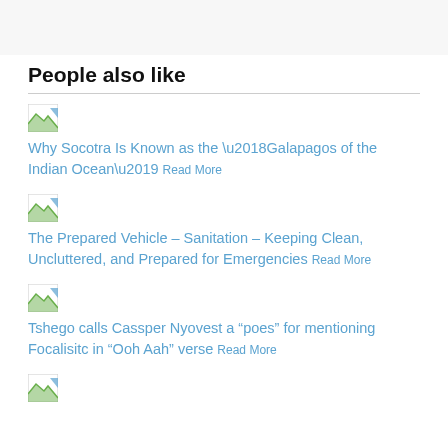People also like
Why Socotra Is Known as the ‘Galapagos of the Indian Ocean’ Read More
The Prepared Vehicle – Sanitation – Keeping Clean, Uncluttered, and Prepared for Emergencies Read More
Tshego calls Cassper Nyovest a “poes” for mentioning Focalisitc in “Ooh Aah” verse Read More